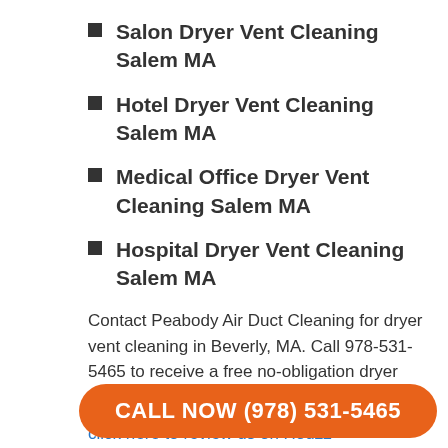Salon Dryer Vent Cleaning Salem MA
Hotel Dryer Vent Cleaning Salem MA
Medical Office Dryer Vent Cleaning Salem MA
Hospital Dryer Vent Cleaning Salem MA
Contact Peabody Air Duct Cleaning for dryer vent cleaning in Beverly, MA. Call 978-531-5465 to receive a free no-obligation dryer vent and duct cleaning estimate.
click here to review us on Houzz
CALL NOW (978) 531-5465